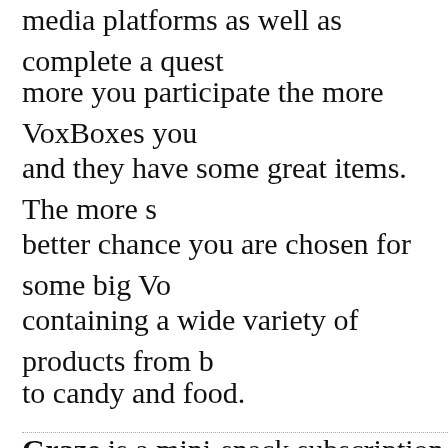media platforms as well as complete a quest...
more you participate the more VoxBoxes yo...
and they have some great items.  The more s...
better chance you are chosen for some big V...
containing a wide variety of products from b...
to candy and food.
Graze is a mini-snack subscription box that...
customized selection of treats weekly, bi-we...
They offer over 100 different snacks that yo...